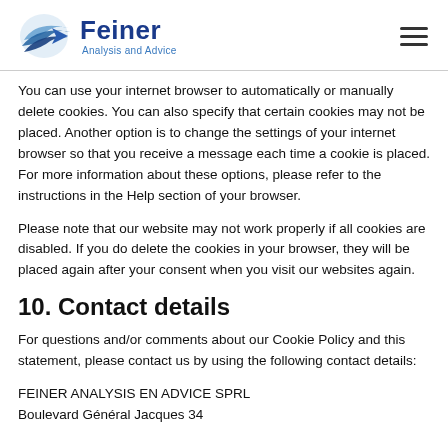Feiner Analysis and Advice
You can use your internet browser to automatically or manually delete cookies. You can also specify that certain cookies may not be placed. Another option is to change the settings of your internet browser so that you receive a message each time a cookie is placed. For more information about these options, please refer to the instructions in the Help section of your browser.
Please note that our website may not work properly if all cookies are disabled. If you do delete the cookies in your browser, they will be placed again after your consent when you visit our websites again.
10. Contact details
For questions and/or comments about our Cookie Policy and this statement, please contact us by using the following contact details:
FEINER ANALYSIS EN ADVICE SPRL
Boulevard Général Jacques 34